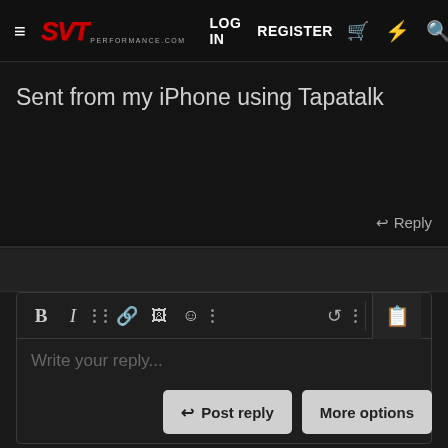[Figure (screenshot): SVT Performance forum website header navigation bar with hamburger menu, SVT logo in red italic text, LOG IN and REGISTER links, cart icon, lightning bolt icon, and search icon on dark background]
Sent from my iPhone using Tapatalk
↩ Reply
[Figure (screenshot): Rich text editor toolbar with Bold (B), Italic (I), more options dots, link, image, emoji, dots, undo, more dots icons, and a document/preview button on the right side]
Write your reply...
↩ Post reply
More options